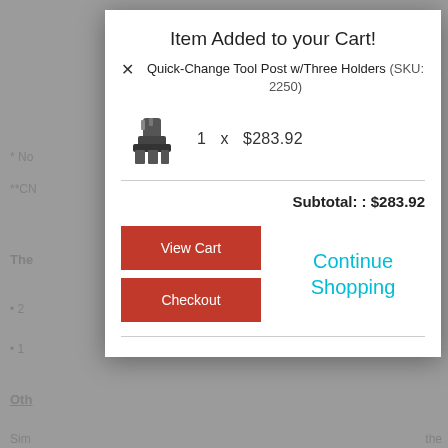[Figure (screenshot): E-commerce modal dialog showing 'Item Added to your Cart!' with product Quick-Change Tool Post w/Three Holders (SKU: 2250), quantity 1 x $283.92, subtotal $283.92, View Cart and Checkout buttons, and Continue Shopping link. Background shows a grayed-out product page.]
Item Added to your Cart!
Quick-Change Tool Post w/Three Holders (SKU: 2250)
1 x $283.92
Subtotal: : $283.92
View Cart
Checkout
Continue Shopping